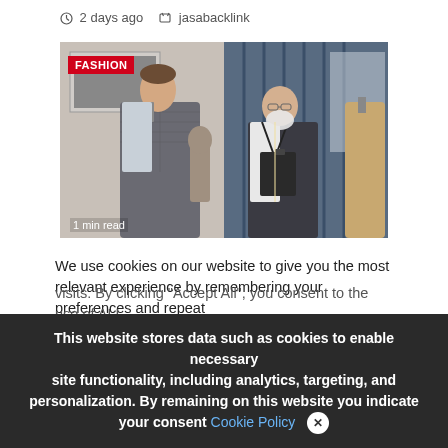2 days ago  jasabacklink
[Figure (photo): Fashion photo showing two men in a tailor shop — one young man in a checked suit vest being fitted, one older man with white beard holding a clipboard, with mannequins in background. FASHION label in red top-left. '1 min read' text at bottom.]
We use cookies on our website to give you the most relevant experience by remembering your preferences and repeat visits. By clicking "Accept All", you consent to the use of ALL provide a controlled consent.
This website stores data such as cookies to enable necessary site functionality, including analytics, targeting, and personalization. By remaining on this website you indicate your consent Cookie Policy  ✕